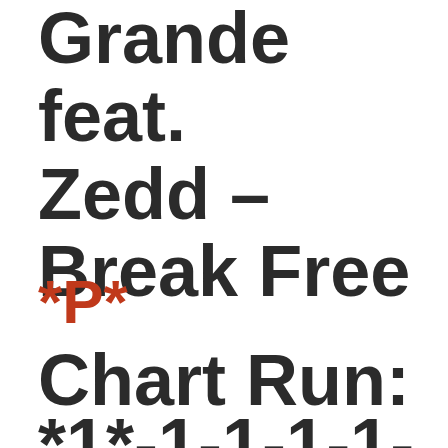Grande feat. Zedd – Break Free
*P*
Chart Run:
*1*-1-1-1-1-